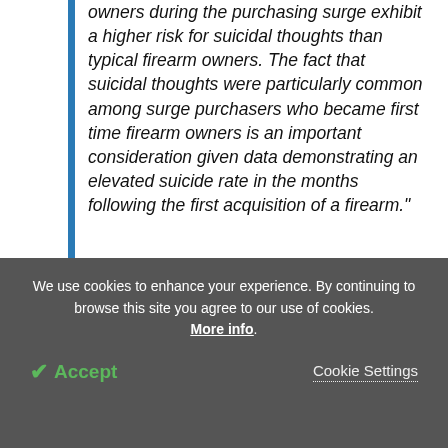owners during the purchasing surge exhibit a higher risk for suicidal thoughts than typical firearm owners. The fact that suicidal thoughts were particularly common among surge purchasers who became first time firearm owners is an important consideration given data demonstrating an elevated suicide rate in the months following the first acquisition of a firearm."
Michael Anestis, lead author, executive director, New Jersey Gun Violence Research
We use cookies to enhance your experience. By continuing to browse this site you agree to our use of cookies. More info.